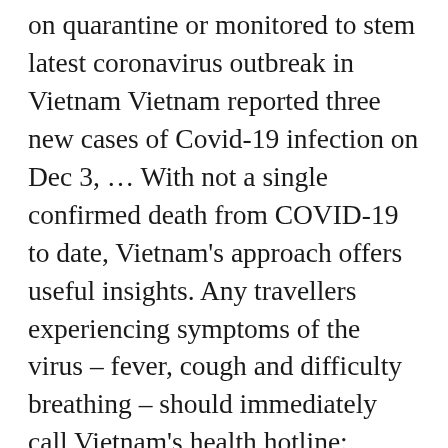on quarantine or monitored to stem latest coronavirus outbreak in Vietnam Vietnam reported three new cases of Covid-19 infection on Dec 3, ... With not a single confirmed death from COVID-19 to date, Vietnam's approach offers useful insights. Any travellers experiencing symptoms of the virus – fever, cough and difficulty breathing – should immediately call Vietnam's health hotline: 19003228. Coronavirus travel health. In order to minimise the risk of contagion, Vietnam is isolating individualswho have come into close contact with others carrying the COVID-19 disease. Discard single-use masks. The government has formed a National Steering